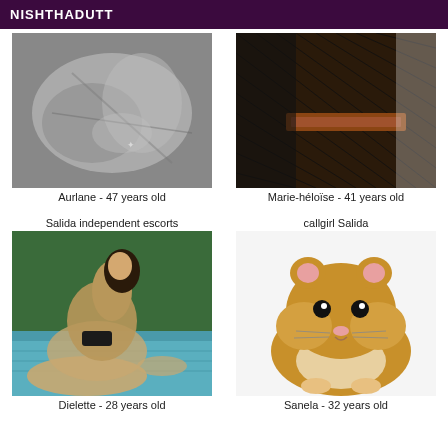NISHTHADUTT
[Figure (photo): Close-up black and white photo, abstract body detail]
Aurlane - 47 years old
[Figure (photo): Close-up photo of fishnet stockings and leather outfit]
Marie-héloïse - 41 years old
Salida independent escorts
[Figure (photo): Woman in black swimwear posing by a pool]
Dielette - 28 years old
callgirl Salida
[Figure (photo): A hamster sitting on white background]
Sanela - 32 years old